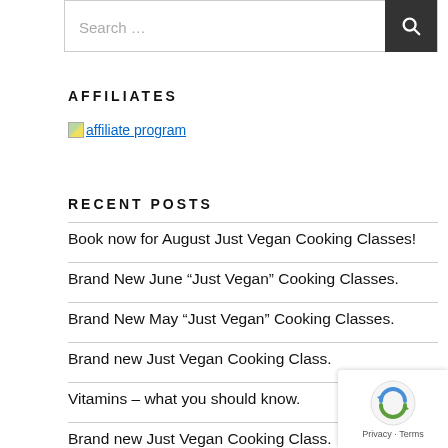Search …
AFFILIATES
[Figure (illustration): Affiliate program image placeholder link]
RECENT POSTS
Book now for August Just Vegan Cooking Classes!
Brand New June “Just Vegan” Cooking Classes.
Brand New May “Just Vegan” Cooking Classes.
Brand new Just Vegan Cooking Class.
Vitamins – what you should know.
Brand new Just Vegan Cooking Class.